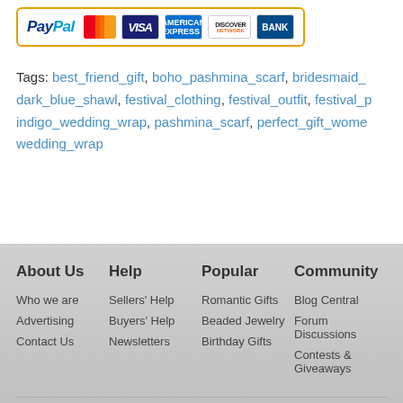[Figure (logo): PayPal payment logo box with MasterCard, VISA, American Express, Discover, and BANK card icons inside a yellow/gold border]
Tags: best_friend_gift, boho_pashmina_scarf, bridesmaid, dark_blue_shawl, festival_clothing, festival_outfit, festival_, indigo_wedding_wrap, pashmina_scarf, perfect_gift_wome, wedding_wrap
About Us  Help  Popular  Community
Who we are  Sellers' Help  Romantic Gifts  Blog Central
Advertising  Buyers' Help  Beaded Jewelry  Forum Discussions
Contact Us  Newsletters  Birthday Gifts  Contests & Giveaways
© 2007-2022, iCraft marketplace is operated by unCommon Th